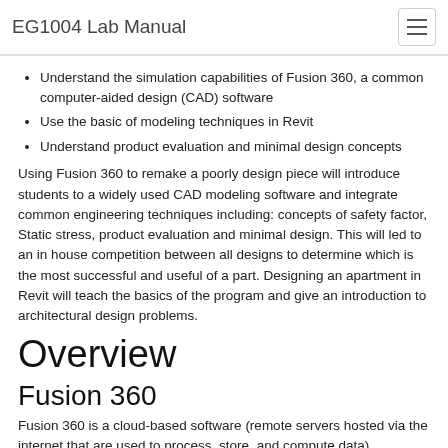EG1004 Lab Manual
Understand the simulation capabilities of Fusion 360, a common computer-aided design (CAD) software
Use the basic of modeling techniques in Revit
Understand product evaluation and minimal design concepts
Using Fusion 360 to remake a poorly design piece will introduce students to a widely used CAD modeling software and integrate common engineering techniques including: concepts of safety factor, Static stress, product evaluation and minimal design. This will led to an in house competition between all designs to determine which is the most successful and useful of a part. Designing an apartment in Revit will teach the basics of the program and give an introduction to architectural design problems.
Overview
Fusion 360
Fusion 360 is a cloud-based software (remote servers hosted via the internet that are used to process, store, and compute data)